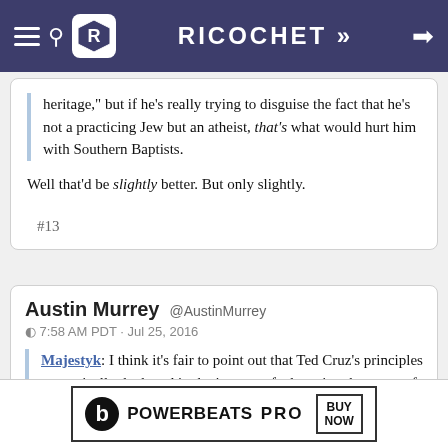RICOCHET >>
heritage," but if he's really trying to disguise the fact that he's not a practicing Jew but an atheist, that's what would hurt him with Southern Baptists.
Well that'd be slightly better. But only slightly.
#13
Austin Murrey @AustinMurrey
⊙ 7:58 AM PDT · Jul 25, 2016
Majestyk: I think it's fair to point out that Ted Cruz's principles are typically deployed in the interest of advancing the cause of Ted Cruz.
[Figure (other): Beats Powerbeats Pro advertisement banner with BUY NOW button]